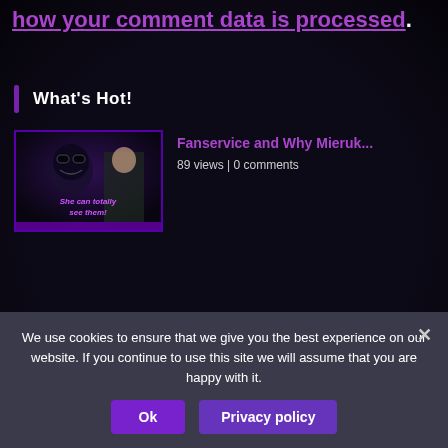how your comment data is processed.
What's Hot!
[Figure (screenshot): Thumbnail image for anime article about Mieruk, dark horror anime scene with text overlay 'She can totally see them']
Fanservice and Why Mieruk...
89 views | 0 comments
[Figure (screenshot): Thumbnail image for light novel title article, anime character with long novel title text overlay]
Why Are Light Novel Title...
31 views | 0 comments
We use cookies to ensure that we give you the best experience on our website. If you continue to use this site we will assume that you are happy with it.